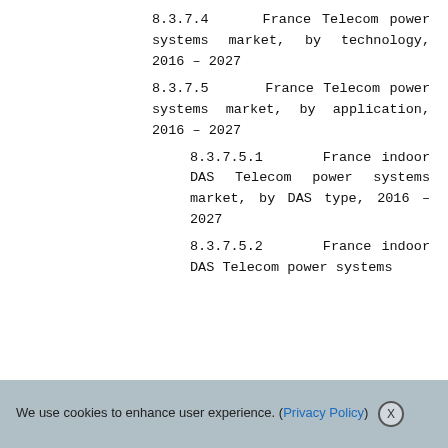8.3.7.4    France Telecom power systems market, by technology, 2016 – 2027
8.3.7.5    France Telecom power systems market, by application, 2016 – 2027
8.3.7.5.1    France indoor DAS Telecom power systems market, by DAS type, 2016 – 2027
8.3.7.5.2    France indoor DAS Telecom power systems
We use cookies to enhance user experience. (Privacy Policy) X